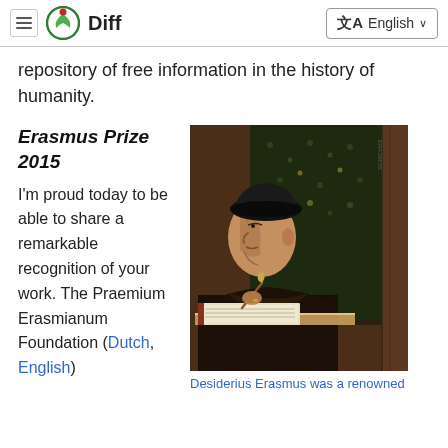≡ [logo] Diff  |  ⨯A English ∨
repository of free information in the history of humanity.
Erasmus Prize 2015
I'm proud today to be able to share a remarkable recognition of your work. The Praemium Erasmianum Foundation (Dutch, English)
[Figure (photo): Painting portrait of Desiderius Erasmus, shown in profile writing at a desk, wearing dark robes and a black cap, against a decorative dark background.]
Desiderius Erasmus was a renowned